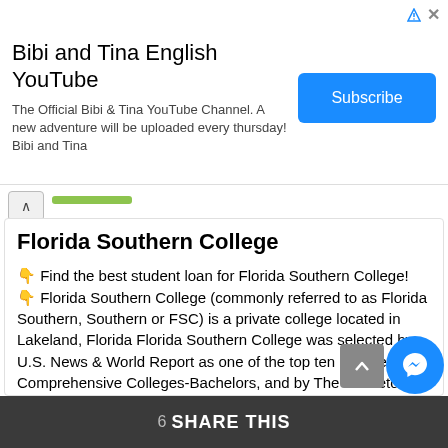[Figure (screenshot): Advertisement banner for 'Bibi and Tina English YouTube' channel with Subscribe button]
Florida Southern College
👇 Find the best student loan for Florida Southern College! 👇 Florida Southern College (commonly referred to as Florida Southern, Southern or FSC) is a private college located in Lakeland, Florida Florida Southern College was selected by U.S. News & World Report as one of the top ten Southern Comprehensive Colleges-Bachelors, and by The Princeton Review […] MORE
6 SHARE THIS